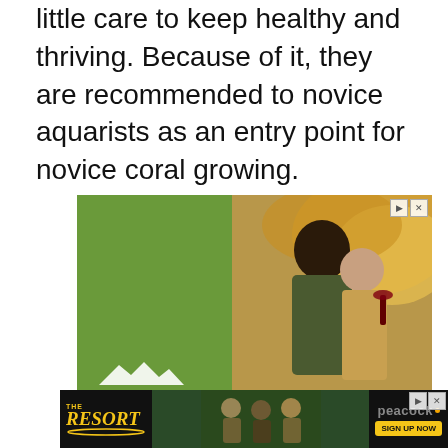little care to keep healthy and thriving. Because of it, they are recommended to novice aquarists as an entry point for novice coral growing.
[Figure (photo): Advertisement for New Hampshire tourism showing two women smiling outdoors among autumn foliage. Green left panel with New Hampshire logo and mountain graphic.]
[Figure (photo): Advertisement for 'The Resort' on Peacock streaming service, showing TV show title card with characters and a Sign Up Now button.]